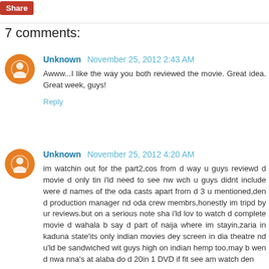Share
7 comments:
Unknown November 25, 2012 2:43 AM
Awww...I like the way you both reviewed the movie. Great idea. Great week, guys!
Reply
Unknown November 25, 2012 4:20 AM
im watchin out for the part2,cos from d way u guys reviewd d movie d only tin i'ld need to see nw wch u guys didnt include were d names of the oda casts apart from d 3 u mentioned,den d production manager nd oda crew membrs,honestly im tripd by ur reviews.but on a serious note sha i'ld lov to watch d complete movie d wahala b say d part of naija where im stayin,zaria in kaduna state'its only indian movies dey screen in dia theatre nd u'ld be sandwiched wit guys high on indian hemp too,may b wen d nwa nna's at alaba do d 20in 1 DVD if fit see am watch den